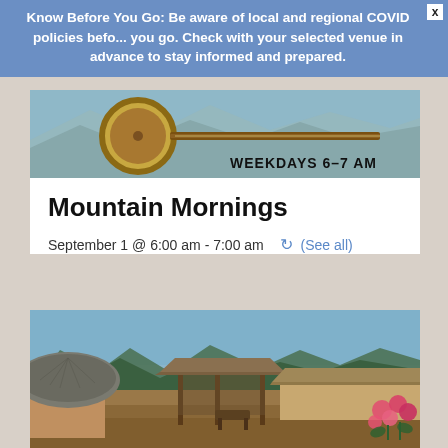Know Before You Go: Be aware of local and regional COVID policies before you go. Check with your selected venue in advance to stay informed and prepared.
[Figure (photo): Partial photo of a banjo with text 'WEEKDAYS 6-7 AM' overlaid, mountains visible in background]
Mountain Mornings
September 1 @ 6:00 am - 7:00 am  ↺ (See all)
[Figure (photo): Outdoor photo of a Native American or historical village with thatched-roof structures, pink flowering roses in foreground right, trees and mountains in background]